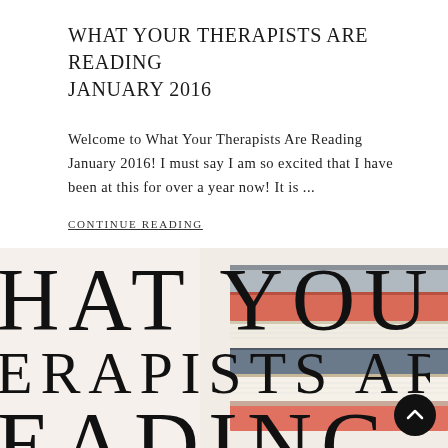WHAT YOUR THERAPISTS ARE READING JANUARY 2016
Welcome to What Your Therapists Are Reading January 2016! I must say I am so excited that I have been at this for over a year now!  It is ...
CONTINUE READING
[Figure (photo): Stack of books with colorful spines (red/salmon, dark blue/grey, cream/white covers) photographed from the side, overlaid with large serif text 'WHAT YOUR THERAPISTS ARE READING' cropped so only partial text is visible.]